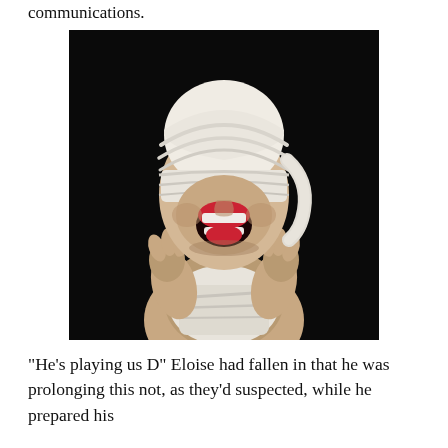communications.
[Figure (photo): A person with white bandages/gauze wrapped around their entire head covering their eyes, mouth open in a scream, hands raised to their face, against a black background, wearing some white wrap around their body.]
“He’s playing us D” Eloise had fallen in that he was prolonging this not, as they’d suspected, while he prepared his